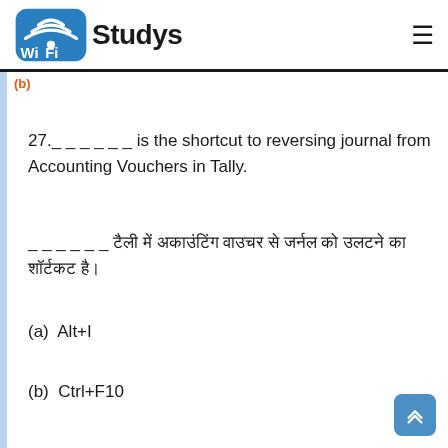Wi Fi Studys
(b)
27.______ is the shortcut to reversing journal from Accounting Vouchers in Tally.
______ टैली में अकाउंटिंग वाउचर से जर्नल को उलटने का शॉर्टकट है।
(a) Alt+I
(b) Ctrl+F10